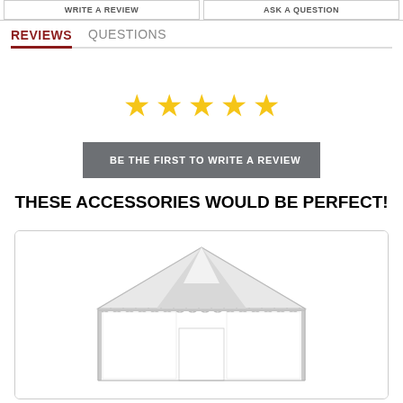WRITE A REVIEW   ASK A QUESTION
REVIEWS   QUESTIONS
[Figure (other): Five gold star rating icons displayed in a row]
BE THE FIRST TO WRITE A REVIEW
THESE ACCESSORIES WOULD BE PERFECT!
[Figure (photo): White canopy tent / frame tent product image shown inside a rounded rectangle product card]